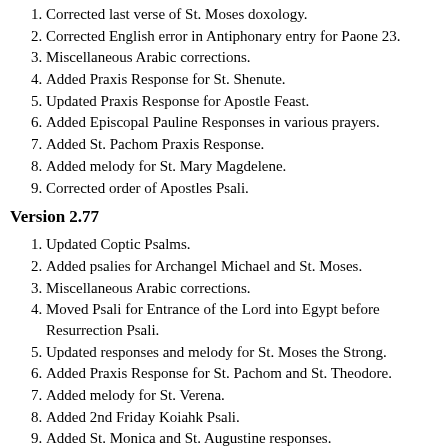1. Corrected last verse of St. Moses doxology.
2. Corrected English error in Antiphonary entry for Paone 23.
3. Miscellaneous Arabic corrections.
4. Added Praxis Response for St. Shenute.
5. Updated Praxis Response for Apostle Feast.
6. Added Episcopal Pauline Responses in various prayers.
7. Added St. Pachom Praxis Response.
8. Added melody for St. Mary Magdelene.
9. Corrected order of Apostles Psali.
Version 2.77
1. Updated Coptic Psalms.
2. Added psalies for Archangel Michael and St. Moses.
3. Miscellaneous Arabic corrections.
4. Moved Psali for Entrance of the Lord into Egypt before Resurrection Psali.
5. Updated responses and melody for St. Moses the Strong.
6. Added Praxis Response for St. Pachom and St. Theodore.
7. Added melody for St. Verena.
8. Added 2nd Friday Koiahk Psali.
9. Added St. Monica and St. Augustine responses.
10. Corrected Arabic word in Matt 13:23.
11. Removed final refrain of Asomen.
12. Added Amen in Arabic to 'We believe, we confess, and we glorify'